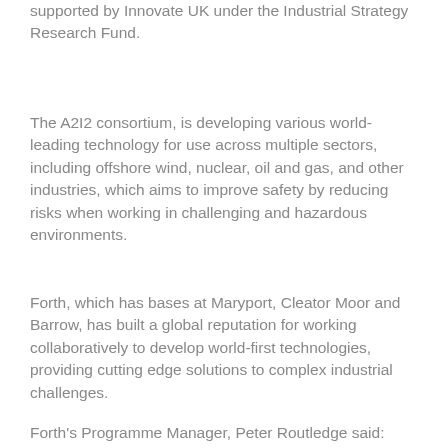supported by Innovate UK under the Industrial Strategy Research Fund.
The A2I2 consortium, is developing various world-leading technology for use across multiple sectors, including offshore wind, nuclear, oil and gas, and other industries, which aims to improve safety by reducing risks when working in challenging and hazardous environments.
Forth, which has bases at Maryport, Cleator Moor and Barrow, has built a global reputation for working collaboratively to develop world-first technologies, providing cutting edge solutions to complex industrial challenges.
Forth's Programme Manager, Peter Routledge said: “Underwater robots are increasingly utilised for commercial and scientific applications to